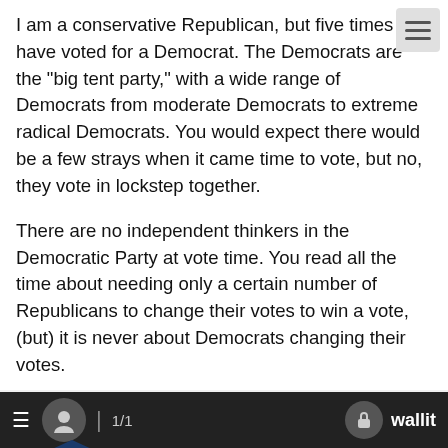I am a conservative Republican, but five times I have voted for a Democrat. The Democrats are the "big tent party," with a wide range of Democrats from moderate Democrats to extreme radical Democrats. You would expect there would be a few strays when it came time to vote, but no, they vote in lockstep together.
There are no independent thinkers in the Democratic Party at vote time. You read all the time about needing only a certain number of Republicans to change their votes to win a vote, (but) it is never about Democrats changing their votes.
I am not a robot, and I do not want my representatives to be programmable robots.
John M Stark
[Figure (other): Advertisement banner for Buckley Law P.C. with shield logo and blue text on white background with diagonal grey image]
≡  [user icon]  | 1/1  [lock icon] wallit